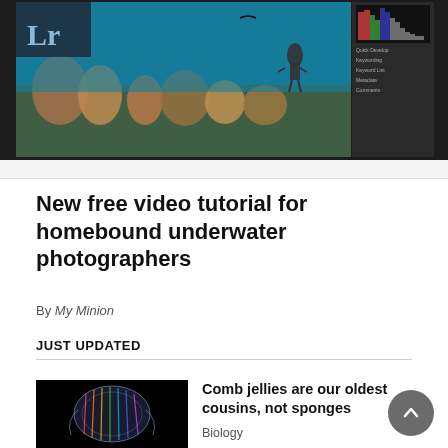[Figure (screenshot): Screenshot of a photo editing software (Lightroom) showing an underwater photography scene with a diver and coral reef, with a histogram panel visible on the right side]
New free video tutorial for homebound underwater photographers
By My Minion
JUST UPDATED
[Figure (photo): Close-up photo of a comb jelly (ctenophore) against a black background showing iridescent rainbow light patterns]
Comb jellies are our oldest cousins, not sponges
Biology